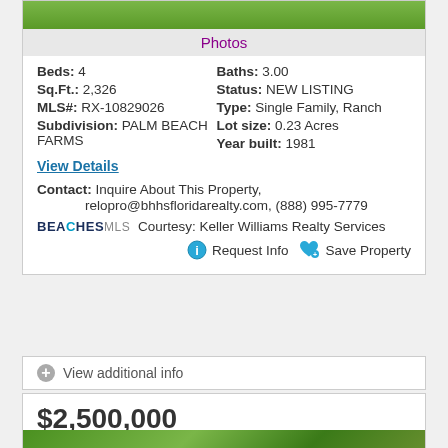[Figure (photo): Partial photo of property with green lawn visible at top]
Photos
Beds: 4    Baths: 3.00
Sq.Ft.: 2,326    Status: NEW LISTING
MLS#: RX-10829026    Type: Single Family, Ranch
Subdivision: PALM BEACH FARMS    Lot size: 0.23 Acres
Year built: 1981
View Details
Contact: Inquire About This Property, relopro@bhhsfloridarealty.com, (888) 995-7779
BEACHES MLS Courtesy: Keller Williams Realty Services
Request Info    Save Property
View additional info
$2,500,000
820 Hibiscus Street Boca Raton, FL 33486
[Figure (photo): Partial photo of property exterior at bottom]